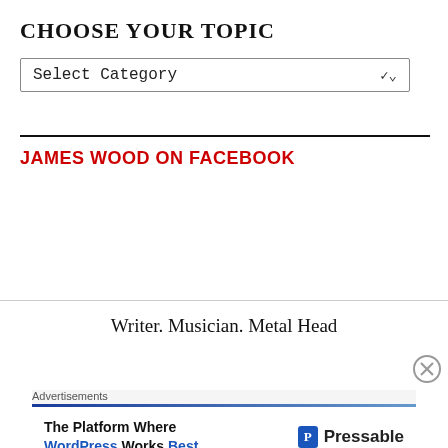CHOOSE YOUR TOPIC
[Figure (other): Dropdown menu element labeled 'Select Category' with a down arrow]
JAMES WOOD ON FACEBOOK
Writer. Musician. Metal Head
[Figure (other): Close/dismiss button (circled X icon)]
Advertisements
[Figure (other): Advertisement: 'The Platform Where WordPress Works Best' with Pressable logo]